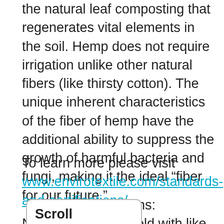the natural leaf composting that regenerates vital elements in the soil. Hemp does not require irrigation unlike other natural fibers (like thirsty cotton). The unique inherent characteristics of the fiber of hemp have the additional ability to suppress the growth of harmful bacteria and fungi, making it the ideal “fiber for our future.”
To learn more please visit www.envirotextile.com/standards-and-certifications/
ons: N cold with like brine bleach or
[Figure (other): A tooltip/popup box overlaying the page content with bold text reading 'Scroll to top']